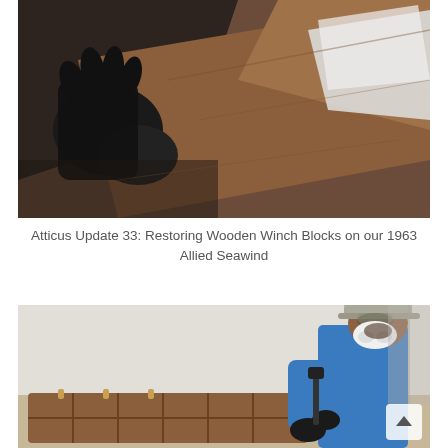[Figure (photo): Close-up photo of gloved hands (black rubber gloves) working on wooden boat parts, with brown/rust colored wooden surfaces and a white plastic bag visible in the background.]
Atticus Update 33: Restoring Wooden Winch Blocks on our 1963 Allied Seawind
[Figure (photo): Photo of a man wearing a blue jacket, grey cap, safety goggles, and a white respirator mask, working on wooden winch blocks laid out on a table, using a tool. White wall in background.]